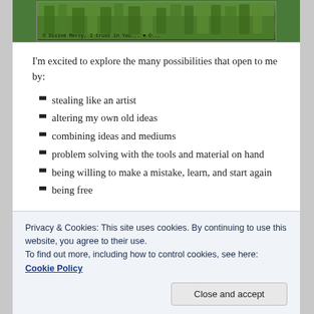[Figure (photo): A photo of green grass or crops with handwritten text at the bottom reading 'O Divine Mercy, I trust in You...']
I'm excited to explore the many possibilities that open to me by:
stealing like an artist
altering my own old ideas
combining ideas and mediums
problem solving with the tools and material on hand
being willing to make a mistake, learn, and start again
being free
Privacy & Cookies: This site uses cookies. By continuing to use this website, you agree to their use. To find out more, including how to control cookies, see here: Cookie Policy
Close and accept